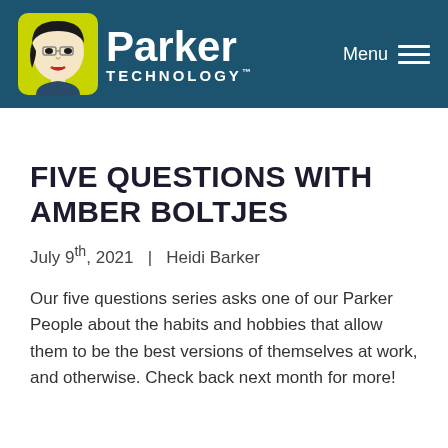[Figure (logo): Parker Technology logo with stylized woman face icon on yellow-green background and white text]
FIVE QUESTIONS WITH AMBER BOLTJES
July 9th, 2021  |  Heidi Barker
Our five questions series asks one of our Parker People about the habits and hobbies that allow them to be the best versions of themselves at work, and otherwise. Check back next month for more!